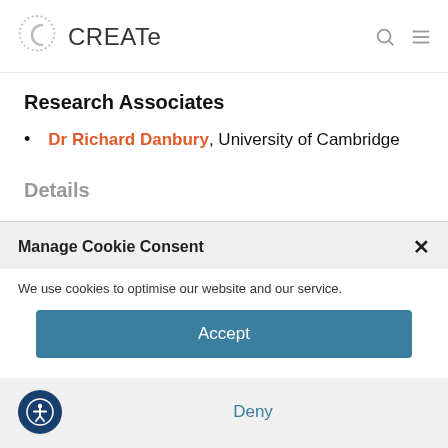CREATe
Research Associates
Dr Richard Danbury, University of Cambridge
Details
Manage Cookie Consent
We use cookies to optimise our website and our service.
Accept
Deny